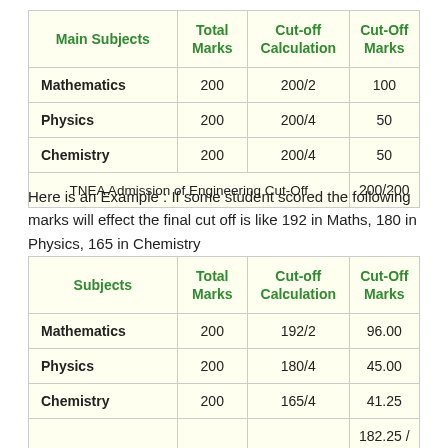| Main Subjects | Total Marks | Cut-off Calculation | Cut-Off Marks |
| --- | --- | --- | --- |
| Mathematics | 200 | 200/2 | 100 |
| Physics | 200 | 200/4 | 50 |
| Chemistry | 200 | 200/4 | 50 |
| TNEA Admission of Engineering Cut-Off |  |  | 200/200 |
Here is an Example : If some student scored the following marks will effect the final cut off is like 192 in Maths, 180 in Physics, 165 in Chemistry
| Subjects | Total Marks | Cut-off Calculation | Cut-Off Marks |
| --- | --- | --- | --- |
| Mathematics | 200 | 192/2 | 96.00 |
| Physics | 200 | 180/4 | 45.00 |
| Chemistry | 200 | 165/4 | 41.25 |
|  |  |  | 182.25 / |